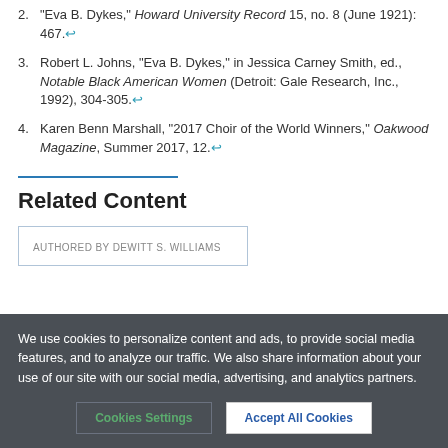2. "Eva B. Dykes," Howard University Record 15, no. 8 (June 1921): 467.↩
3. Robert L. Johns, "Eva B. Dykes," in Jessica Carney Smith, ed., Notable Black American Women (Detroit: Gale Research, Inc., 1992), 304-305.↩
4. Karen Benn Marshall, "2017 Choir of the World Winners," Oakwood Magazine, Summer 2017, 12.↩
Related Content
AUTHORED BY DEWITT S. WILLIAMS
We use cookies to personalize content and ads, to provide social media features, and to analyze our traffic. We also share information about your use of our site with our social media, advertising, and analytics partners.